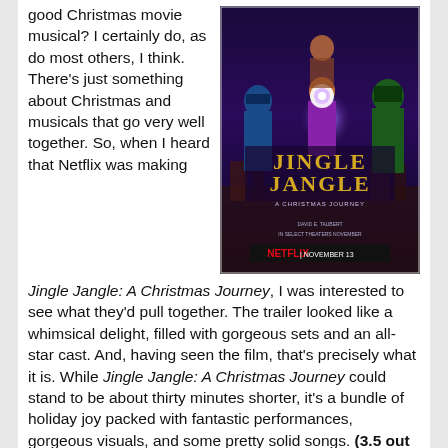good Christmas movie musical? I certainly do, as do most others, I think. There's just something about Christmas and musicals that go very well together. So, when I heard that Netflix was making
[Figure (photo): Movie poster for Jingle Jangle: A Christmas Journey on Netflix, showing characters in colorful costumes with a child at center holding a glowing light, with text 'Jingle Jangle: A Christmas Journey' and 'Netflix | November 13']
Jingle Jangle: A Christmas Journey, I was interested to see what they'd pull together. The trailer looked like a whimsical delight, filled with gorgeous sets and an all-star cast. And, having seen the film, that's precisely what it is. While Jingle Jangle: A Christmas Journey could stand to be about thirty minutes shorter, it's a bundle of holiday joy packed with fantastic performances, gorgeous visuals, and some pretty solid songs. (3.5 out of 5 wands.)
(NOTE: There may be mild spoilers ahead. Read at your own risk.)